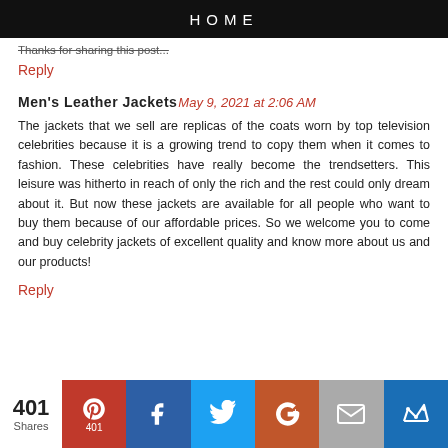HOME
Thanks for sharing this post...
Reply
Men's Leather Jackets May 9, 2021 at 2:06 AM
The jackets that we sell are replicas of the coats worn by top television celebrities because it is a growing trend to copy them when it comes to fashion. These celebrities have really become the trendsetters. This leisure was hitherto in reach of only the rich and the rest could only dream about it. But now these jackets are available for all people who want to buy them because of our affordable prices. So we welcome you to come and buy celebrity jackets of excellent quality and know more about us and our products!
Reply
[Figure (infographic): Social share bar with 401 shares: Pinterest (401), Facebook, Twitter, Google+, Email, Crown/other buttons]